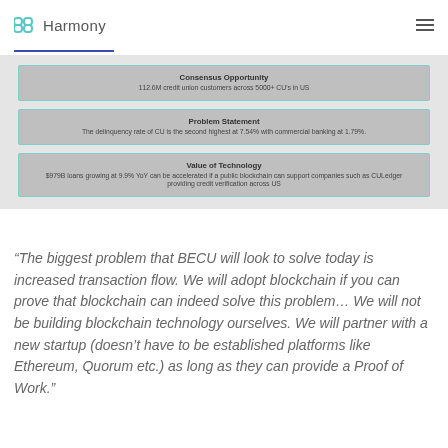Harmony
Consensus Opportunity
112.6M credit union customers across 5000+ CU's in US
Problem Statement
The delinquency rate of CU is the second highest at 7.54% with commercial banking at 1.79%.
Value of Technology
$979B loans growing at 9.9% YoY can be accelerated if a public blockchain can support companies such as CULedger providing credit verification across US
“The biggest problem that BECU will look to solve today is increased transaction flow. We will adopt blockchain if you can prove that blockchain can indeed solve this problem… We will not be building blockchain technology ourselves. We will partner with a new startup (doesn’t have to be established platforms like Ethereum, Quorum etc.) as long as they can provide a Proof of Work.”